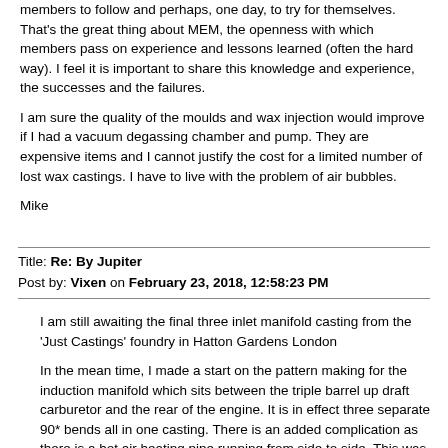members to follow and perhaps, one day, to try for themselves. That's the great thing about MEM, the openness with which members pass on experience and lessons learned (often the hard way). I feel it is important to share this knowledge and experience, the successes and the failures.
I am sure the quality of the moulds and wax injection would improve if I had a vacuum degassing chamber and pump. They are expensive items and I cannot justify the cost for a limited number of lost wax castings. I have to live with the problem of air bubbles.
Mike
Title: Re: By Jupiter
Post by: Vixen on February 23, 2018, 12:58:23 PM
I am still awaiting the final three inlet manifold casting from the 'Just Castings' foundry in Hatton Gardens London
In the mean time, I made a start on the pattern making for the induction manifold which sits between the triple barrel up draft carburetor and the rear of the engine. It is in effect three separate 90* bends all in one casting. There is an added complication as there is a hot air heating pipe running from side to side. This was intended to heat the incoming mixture and prevent iceing at altitude. Here is a photo from the manual. I think this one will be a challenge.